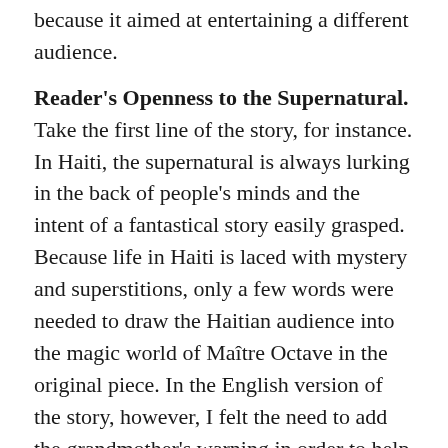because it aimed at entertaining a different audience.
Reader's Openness to the Supernatural. Take the first line of the story, for instance. In Haiti, the supernatural is always lurking in the back of people's minds and the intent of a fantastical story easily grasped. Because life in Haiti is laced with mystery and superstitions, only a few words were needed to draw the Haitian audience into the magic world of Maître Octave in the original piece. In the English version of the story, however, I felt the need to add the grandmother's warning in order to help with the set-up and cater to the American audience, which is more matter-of-fact and doesn't expect the supernatural, unless hints are given in that direction.
P.O.V. Audience also affected the point of view of the narration. While the omniscient P.O.V is admissible in Haiti, a country known for its oral tradition, it was frowned